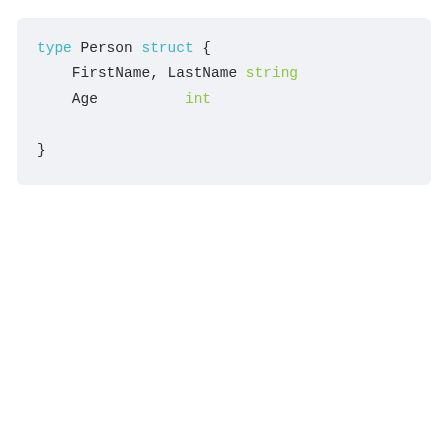[Figure (other): Go language code snippet showing a struct type definition for Person with fields FirstName, LastName of type string and Age of type int]